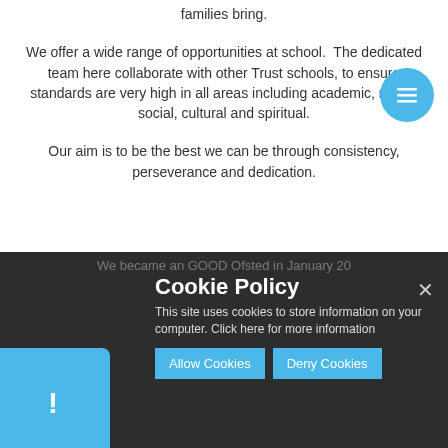families bring.
We offer a wide range of opportunities at school.  The dedicated team here collaborate with other Trust schools, to ensure standards are very high in all areas including academic, moral, social, cultural and spiritual.
Our aim is to be the best we can be through consistency, perseverance and dedication.
[Figure (screenshot): Cookie policy popup overlay on a dark school website footer. Contains title 'Cookie Policy', description text, two blue buttons (Allow Cookies, Deny Cookies), a close X, and a blue accent panel at bottom-left with exclamation mark.]